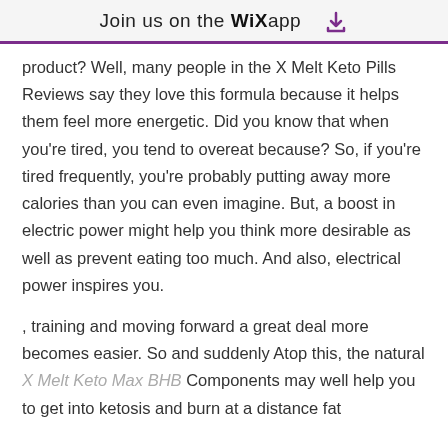Join us on the WiX app ⬇
product? Well, many people in the X Melt Keto Pills Reviews say they love this formula because it helps them feel more energetic. Did you know that when you're tired, you tend to overeat because? So, if you're tired frequently, you're probably putting away more calories than you can even imagine. But, a boost in electric power might help you think more desirable as well as prevent eating too much. And also, electrical power inspires you.
, training and moving forward a great deal more becomes easier. So and suddenly Atop this, the natural X Melt Keto Max BHB Components may well help you to get into ketosis and burn at a distance fat